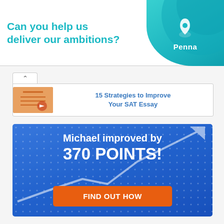[Figure (screenshot): Advertisement banner: 'Can you help us deliver our ambitions?' with Penna company logo on teal/green background]
[Figure (screenshot): Card showing '15 Strategies to Improve Your SAT Essay' with an image thumbnail and up-arrow tab]
[Figure (infographic): Blue promotional banner: 'Michael improved by 370 POINTS!' with upward arrow graphic and orange 'FIND OUT HOW' button]
Most Popular Articles
View More
How to Get a 1600 on the SAT, by a Perfect Scorer